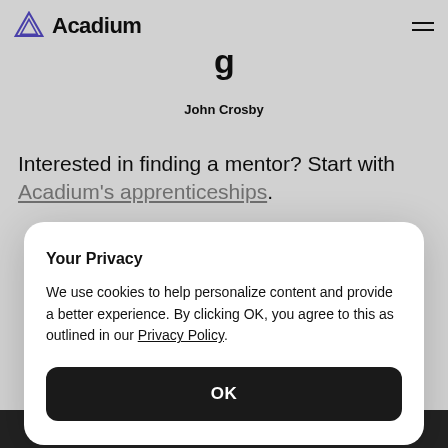Acadium
John Crosby
Interested in finding a mentor? Start with Acadium's apprenticeships.
Your Privacy
We use cookies to help personalize content and provide a better experience. By clicking OK, you agree to this as outlined in our Privacy Policy.
OK